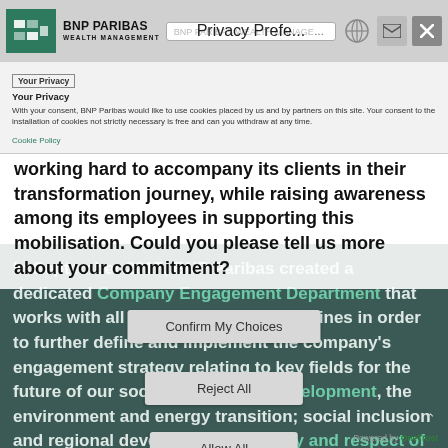BNP PARIBAS WEALTH MANAGEMENT — Privacy Preferences browser bar
Your Privacy
Your Privacy
With your consent, BNP Paribas would like to use cookies placed by us and by partners on this site. Your consent to the installation of cookies not strictly necessary is free and can you withdraw at any time.
Cookie Policy
BNP Paribas Wealth Management has been working hard to accompany its clients in their transformation journey, while raising awareness among its employees in supporting this mobilisation. Could you please tell us more about your commitment?
In September 2017, BNP Paribas created a dedicated Company Engagement Department that works with all BNP Paribas business lines in order to further define and implement the company's engagement strategy relating to key fields for the future of our society: economic development, the environment and energy transition; social inclusion and regional development; diversity and respect of human rights. This strategy is built
Powered by OneTrust